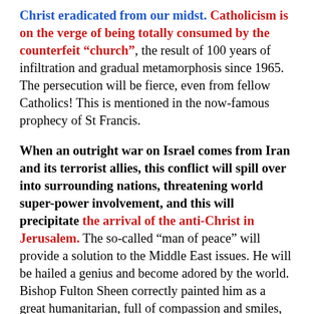Christ eradicated from our midst. Catholicism is on the verge of being totally consumed by the counterfeit “church”, the result of 100 years of infiltration and gradual metamorphosis since 1965. The persecution will be fierce, even from fellow Catholics! This is mentioned in the now-famous prophecy of St Francis.
When an outright war on Israel comes from Iran and its terrorist allies, this conflict will spill over into surrounding nations, threatening world super-power involvement, and this will precipitate the arrival of the anti-Christ in Jerusalem. The so-called “man of peace” will provide a solution to the Middle East issues. He will be hailed a genius and become adored by the world. Bishop Fulton Sheen correctly painted him as a great humanitarian, full of compassion and smiles, rather than a Stalin or Hitler. If he came clothed in red